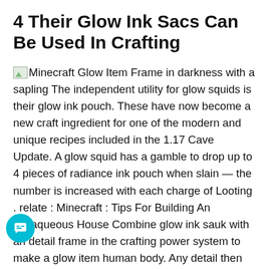4 Their Glow Ink Sacs Can Be Used In Crafting
Minecraft Glow Item Frame in darkness with a sapling The independent utility for glow squids is their glow ink pouch. These have now become a new craft ingredient for one of the modern and unique recipes included in the 1.17 Cave Update. A glow squid has a gamble to drop up to 4 pieces of radiance ink pouch when slain — the number is increased with each charge of Looting . relate : Minecraft : Tips For Building An subaqueous House Combine glow ink sauk with an detail frame in the crafting power system to make a glow item human body. Any detail then placed into this item frame of reference will have a w effect. This is largely great for aesthetic purposes. The integral detail frame and whatever is inside of it will be